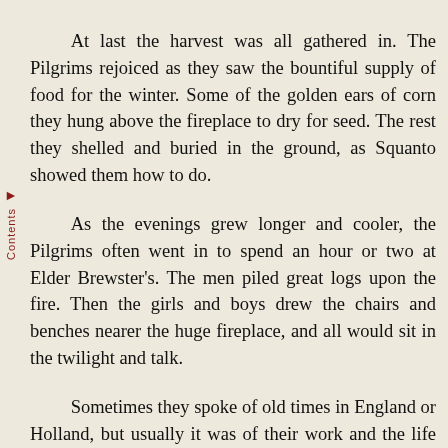At last the harvest was all gathered in. The Pilgrims rejoiced as they saw the bountiful supply of food for the winter. Some of the golden ears of corn they hung above the fireplace to dry for seed. The rest they shelled and buried in the ground, as Squanto showed them how to do.
As the evenings grew longer and cooler, the Pilgrims often went in to spend an hour or two at Elder Brewster's. The men piled great logs upon the fire. Then the girls and boys drew the chairs and benches nearer the huge fireplace, and all would sit in the twilight and talk.
Sometimes they spoke of old times in England or Holland, but usually it was of their work and the life in the new home. On this November evening all talked of the harvest which had just been stored